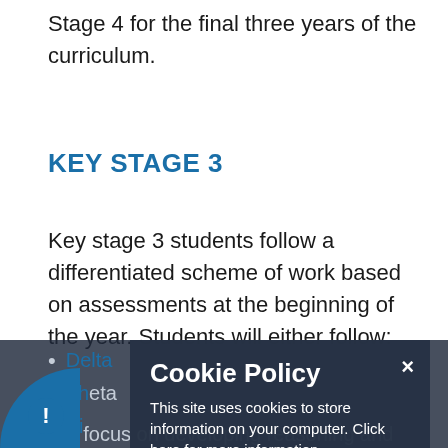Stage 4 for the final three years of the curriculum.
KEY STAGE 3
Key stage 3 students follow a differentiated scheme of work based on assessments at the beginning of the year. Students will either follow:
Delta
Theta
Pi
We focus on developing reasoning and learning thinking skills to provide a solid foundation
[Figure (other): Cookie Policy popup overlay with title 'Cookie Policy', body text 'This site uses cookies to store information on your computer. Click here for more information', and two buttons: 'Allow Cookies' and 'Deny Cookies', with a close (×) button, on a dark semi-transparent background.]